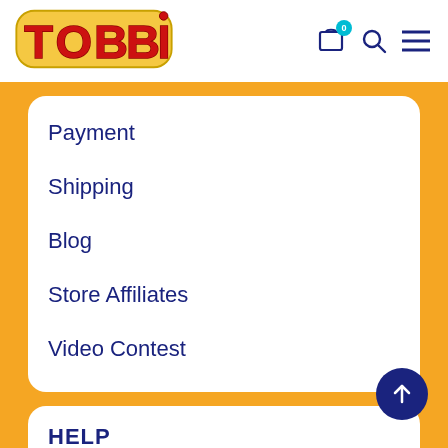[Figure (logo): TOBBI logo in red bubbly letters with a yellow/gold outline on white background]
Payment
Shipping
Blog
Store Affiliates
Video Contest
HELP
Your Account